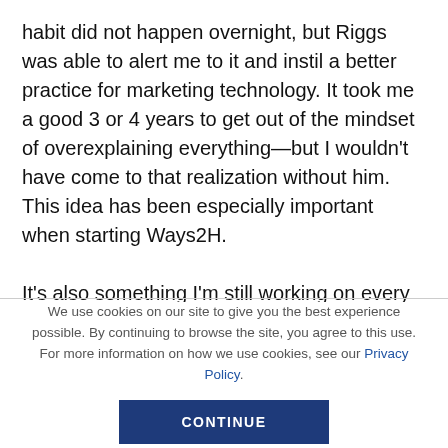habit did not happen overnight, but Riggs was able to alert me to it and instil a better practice for marketing technology. It took me a good 3 or 4 years to get out of the mindset of overexplaining everything—but I wouldn't have come to that realization without him. This idea has been especially important when starting Ways2H.
It's also something I'm still working on every day. I was recently on a call with a young man from Spain who
We use cookies on our site to give you the best experience possible. By continuing to browse the site, you agree to this use. For more information on how we use cookies, see our Privacy Policy.
CONTINUE